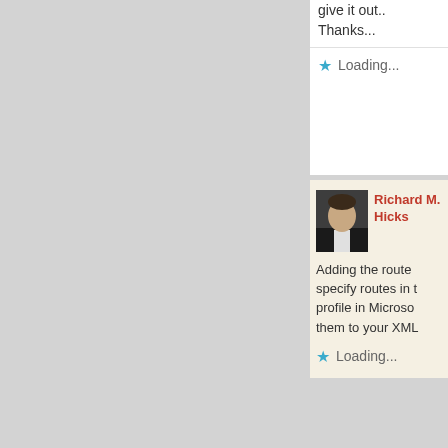give it out.. Thanks...
Loading...
Richard M. Hicks
Adding the route specify routes in the profile in Microsoft them to your XML
Loading...
Scott S. /
I actually did thnk MS wa installed the same thing. the client I h